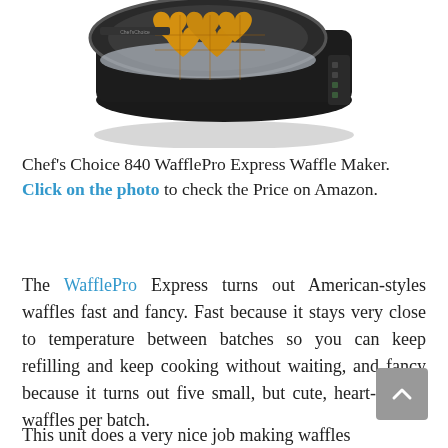[Figure (photo): Chef's Choice 840 WafflePro Express Waffle Maker — a dark black circular waffle iron appliance shown from above with a golden heart-shaped waffle visible on the cooking surface, along with a round metallic tray.]
Chef's Choice 840 WafflePro Express Waffle Maker. Click on the photo to check the Price on Amazon.
The WafflePro Express turns out American-styles waffles fast and fancy. Fast because it stays very close to temperature between batches so you can keep refilling and keep cooking without waiting, and fancy because it turns out five small, but cute, heart-shaped waffles per batch.
This unit does a very nice job making waffles